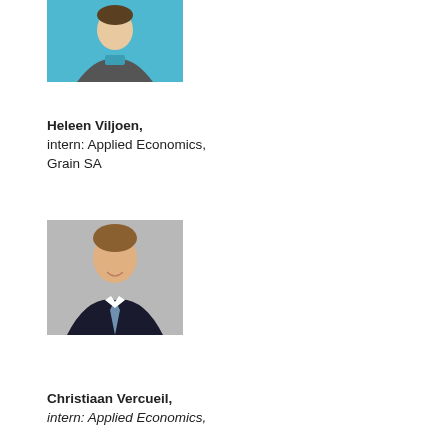[Figure (photo): Headshot photo of Heleen Viljoen, a woman in a blue/teal top]
Heleen Viljoen,
intern: Applied Economics,
Grain SA
[Figure (photo): Headshot photo of Christiaan Vercueil, a young man in a dark suit with a striped tie]
Christiaan Vercueil,
intern: Applied Economics,